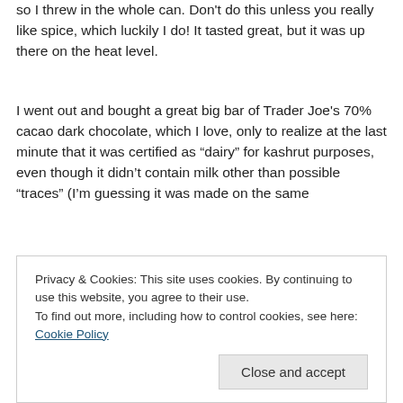so I threw in the whole can. Don't do this unless you really like spice, which luckily I do! It tasted great, but it was up there on the heat level.
I went out and bought a great big bar of Trader Joe's 70% cacao dark chocolate, which I love, only to realize at the last minute that it was certified as “dairy” for kashrut purposes, even though it didn’t contain milk other than possible “traces” (I’m guessing it was made on the same
Privacy & Cookies: This site uses cookies. By continuing to use this website, you agree to their use.
To find out more, including how to control cookies, see here: Cookie Policy